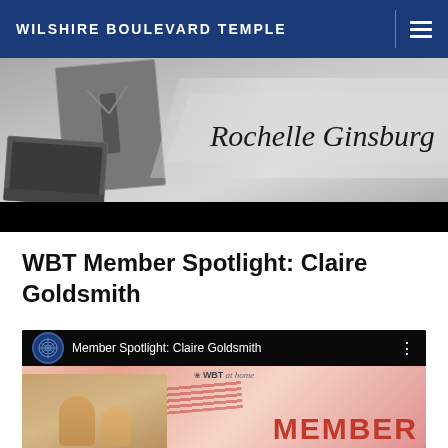WILSHIRE BOULEVARD TEMPLE
[Figure (photo): Grayscale collage image showing a suit with tie and laptop, with cursive text 'Rochelle Ginsburg' overlaid on a brushstroke background]
WBT Member Spotlight: Claire Goldsmith
[Figure (screenshot): YouTube video thumbnail for 'Member Spotlight: Claire Goldsmith' showing WBT at home branding with 'MEMBER' text and family photo on pink/red background]